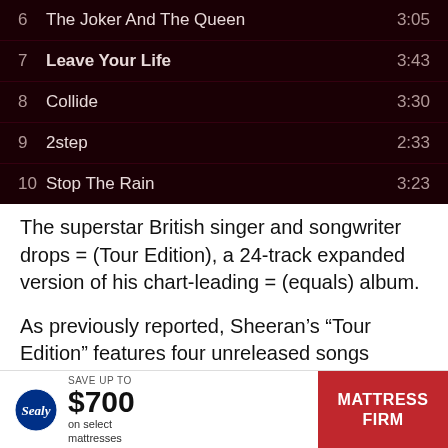| # | Title | Duration |
| --- | --- | --- |
| 6 | The Joker And The Queen | 3:05 |
| 7 | Leave Your Life | 3:43 |
| 8 | Collide | 3:30 |
| 9 | 2step | 2:33 |
| 10 | Stop The Rain | 3:23 |
The superstar British singer and songwriter drops = (Tour Edition), a 24-track expanded version of his chart-leading = (equals) album.
As previously reported, Sheeran's “Tour Edition” features four unreleased songs including “One Life” and “Penguins,” both from the fictional film Yesterday, in which he appears as himself, plus the freshly-minted “I Will Remember You” and “Welcome to the Middle” which arrived days after h... ng a
[Figure (other): Advertisement banner: Sealy logo with text 'SAVE UP TO $700 on select mattresses' and Mattress Firm logo on red background]